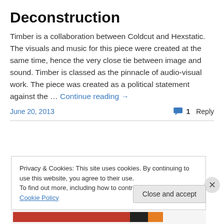Deconstruction
Timber is a collaboration between Coldcut and Hexstatic. The visuals and music for this piece were created at the same time, hence the very close tie between image and sound. Timber is classed as the pinnacle of audio-visual work. The piece was created as a political statement against the … Continue reading →
June 20, 2013
1 Reply
Privacy & Cookies: This site uses cookies. By continuing to use this website, you agree to their use.
To find out more, including how to control cookies, see here: Cookie Policy
Close and accept